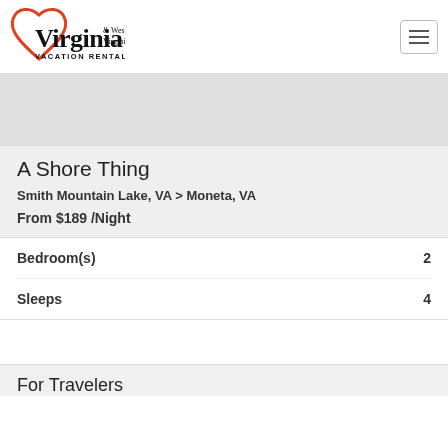Virginia & West Virginia VACATION RENTALS
[Figure (photo): Property photo placeholder (gray area)]
A Shore Thing
Smith Mountain Lake, VA > Moneta, VA
From $189 /Night
| Bedroom(s) | 2 |
| Sleeps | 4 |
For Travelers